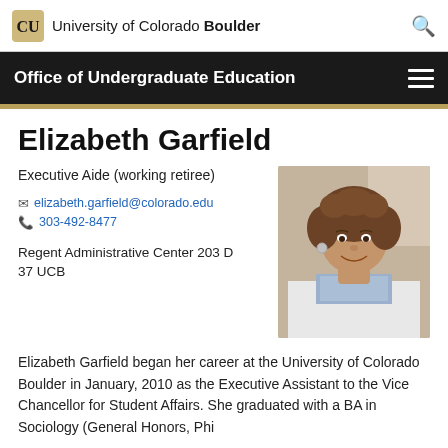University of Colorado Boulder
Office of Undergraduate Education
Elizabeth Garfield
Executive Aide (working retiree)
elizabeth.garfield@colorado.edu
303-492-8477
[Figure (photo): Portrait photo of Elizabeth Garfield, a woman with curly brown hair, smiling, wearing a floral scarf]
Regent Administrative Center 203 D
37 UCB
Elizabeth Garfield began her career at the University of Colorado Boulder in January, 2010 as the Executive Assistant to the Vice Chancellor for Student Affairs. She graduated with a BA in Sociology (General Honors, Phi